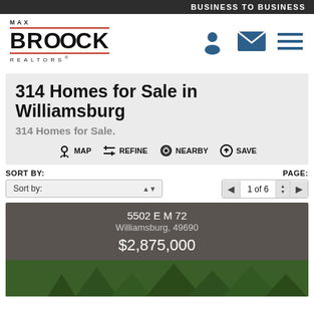BUSINESS TO BUSINESS
[Figure (logo): Max Broock Realtors logo with red underlines]
314 Homes for Sale in Williamsburg
314 Homes for Sale.
MAP  REFINE  NEARBY  SAVE
SORT BY:
Sort by:
PAGE: 1 of 6
5502 E M 72
Williamsburg, 49690
$2,875,000